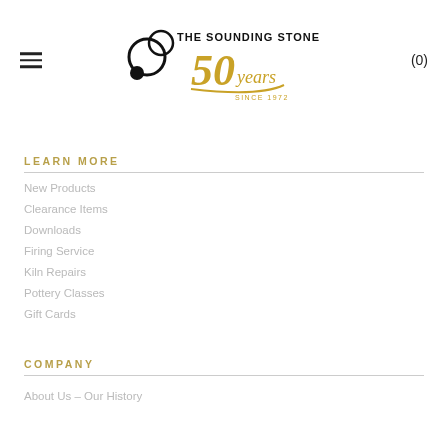The Sounding Stone 50 Years Since 1972 — (0)
LEARN MORE
New Products
Clearance Items
Downloads
Firing Service
Kiln Repairs
Pottery Classes
Gift Cards
COMPANY
About Us – Our History